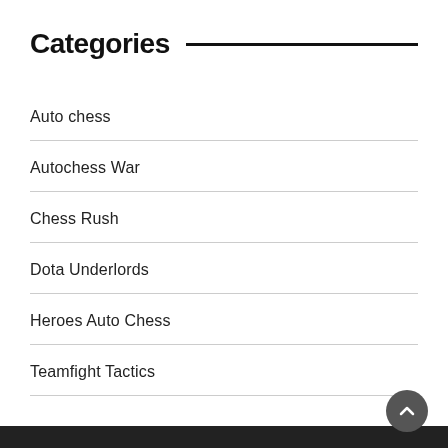Categories
Auto chess
Autochess War
Chess Rush
Dota Underlords
Heroes Auto Chess
Teamfight Tactics